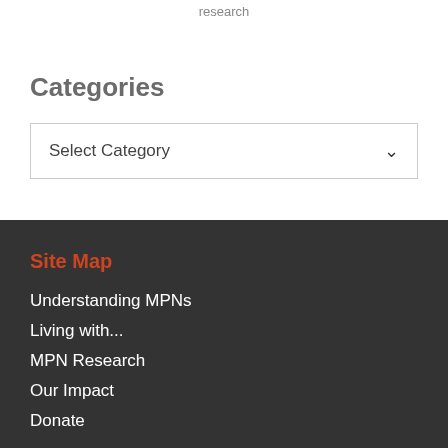research
Categories
Select Category
Site Map
Understanding MPNs
Living with...
MPN Research
Our Impact
Donate